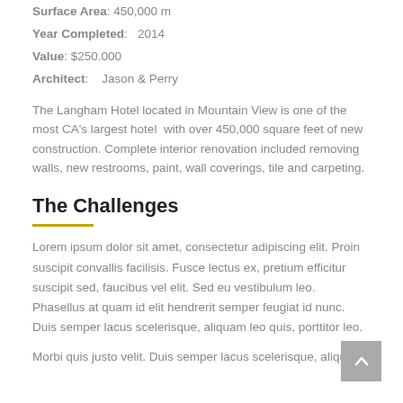Surface Area: 450,000 m
Year Completed:   2014
Value: $250.000
Architect:    Jason & Perry
The Langham Hotel located in Mountain View is one of the most CA's largest hotel  with over 450,000 square feet of new construction. Complete interior renovation included removing walls, new restrooms, paint, wall coverings, tile and carpeting.
The Challenges
Lorem ipsum dolor sit amet, consectetur adipiscing elit. Proin suscipit convallis facilisis. Fusce lectus ex, pretium efficitur suscipit sed, faucibus vel elit. Sed eu vestibulum leo. Phasellus at quam id elit hendrerit semper feugiat id nunc. Duis semper lacus scelerisque, aliquam leo quis, porttitor leo.
Morbi quis justo velit. Duis semper lacus scelerisque, aliquam